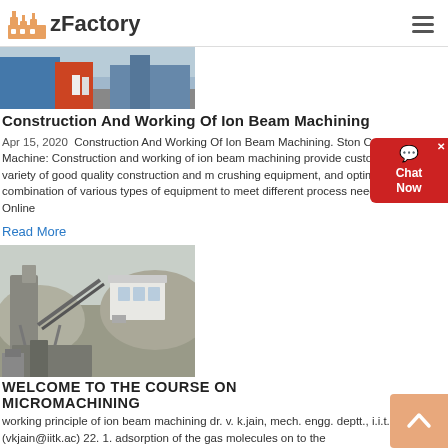zFactory
[Figure (photo): Partial view of industrial machinery with blue equipment and workers in white.]
Construction And Working Of Ion Beam Machining
Apr 15, 2020  Construction And Working Of Ion Beam Machining. Stone Crushing Machine: Construction and working of ion beam machining provide customers with a variety of good quality construction and mining crushing equipment, and optimize the combination of various types of equipment to meet different process needs. Inquiry Online
Read More
[Figure (photo): Industrial facility with silos, conveyor structures, and a white building — quarry or mining site.]
WELCOME TO THE COURSE ON MICROMACHINING
working principle of ion beam machining dr. v. k.jain, mech. engg. deptt., i.i.t. kanpur (vkjain@iitk.ac) 22. 1. adsorption of the gas molecules on to the